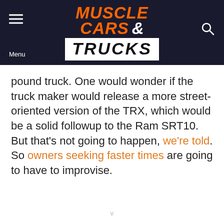Muscle Cars & Trucks
pound truck. One would wonder if the truck maker would release a more street-oriented version of the TRX, which would be a solid followup to the Ram SRT10. But that's not going to happen, we're told. So owners seeking faster times are going to have to improvise.